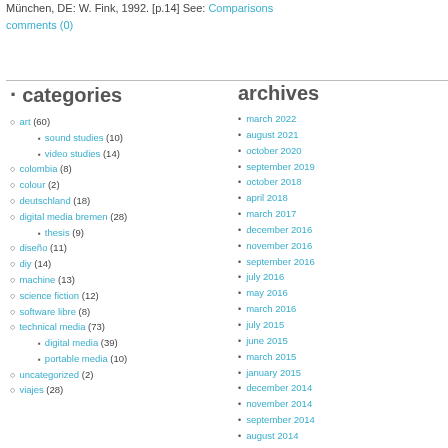München, DE: W. Fink, 1992. [p.14] See: Comparisons
comments (0)
categories
archives
art (60)
sound studies (10)
video studies (14)
colombia (8)
colour (2)
deutschland (18)
digital media bremen (28)
thesis (9)
diseño (11)
diy (14)
machine (13)
science fiction (12)
software libre (8)
technical media (73)
digital media (39)
portable media (10)
uncategorized (2)
viajes (28)
march 2022
august 2021
october 2020
september 2019
october 2018
april 2018
march 2017
december 2016
november 2016
september 2016
july 2016
may 2016
march 2016
july 2015
june 2015
march 2015
january 2015
december 2014
november 2014
september 2014
august 2014